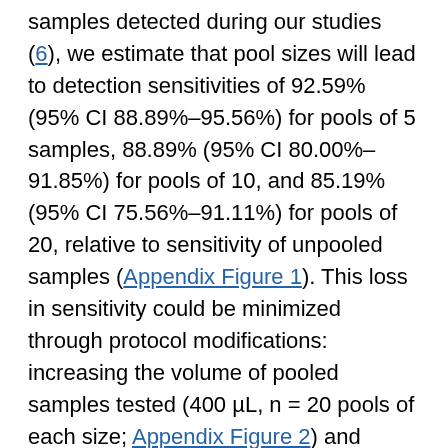samples detected during our studies (6), we estimate that pool sizes will lead to detection sensitivities of 92.59% (95% CI 88.89%–95.56%) for pools of 5 samples, 88.89% (95% CI 80.00%–91.85%) for pools of 10, and 85.19% (95% CI 75.56%–91.11%) for pools of 20, relative to sensitivity of unpooled samples (Appendix Figure 1). This loss in sensitivity could be minimized through protocol modifications: increasing the volume of pooled samples tested (400 µL, n = 20 pools of each size; Appendix Figure 2) and decreasing the elution volume.
On the basis of the calculated relative sensitivity loss resulting from pooling, we modeled the number of tests required (total of pooled and individual samples from positive pools tested) for a population of 10,000 with increasing SARS-CoV-2 prevalence (Figure 2, panel A). We estimate that for populations with